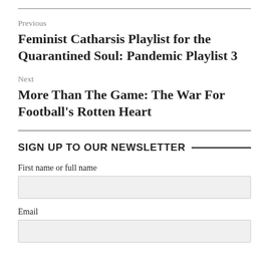Previous
Feminist Catharsis Playlist for the Quarantined Soul: Pandemic Playlist 3
Next
More Than The Game: The War For Football's Rotten Heart
SIGN UP TO OUR NEWSLETTER
First name or full name
Email